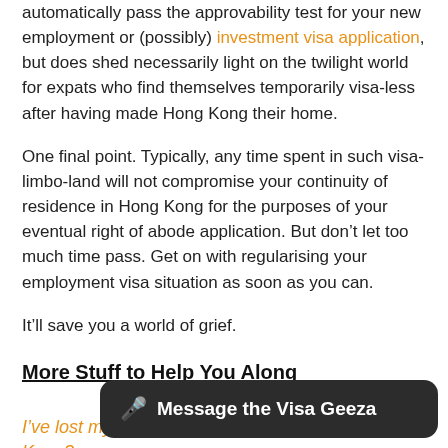automatically pass the approvability test for your new employment or (possibly) investment visa application, but does shed necessarily light on the twilight world for expats who find themselves temporarily visa-less after having made Hong Kong their home.
One final point. Typically, any time spent in such visa-limbo-land will not compromise your continuity of residence in Hong Kong for the purposes of your eventual right of abode application. But don’t let too much time pass. Get on with regularising your employment visa situation as soon as you can.
It’ll save you a world of grief.
More Stuff to Help You Along
I’ve lost my job – will I get kicked out of Hong Kong?
If I didn’t graduate from university, will it stop me from getting an em…
Can I employ myself by getting a Hong Kong…